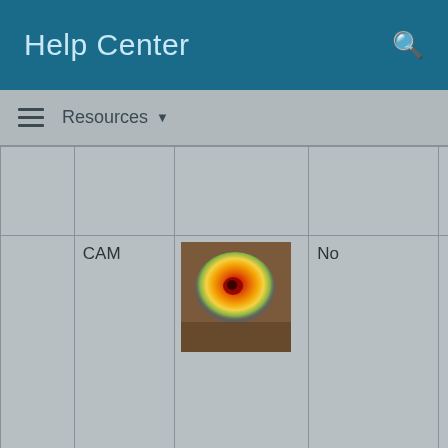Help Center
Resources ▼
|  |  |  |  | Local |  |
| --- | --- | --- | --- | --- | --- |
| CAM | [heat map image] | No | Local | G b a h |